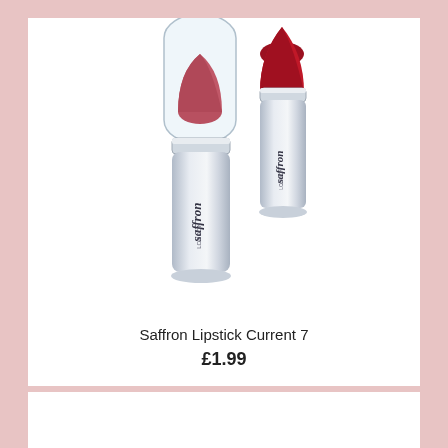[Figure (photo): Two Saffron London lipsticks side by side — one with a clear cap showing a rosy-red bullet, the other open showing a deep red bullet. Both have silver metallic bodies with the 'saffron London' logo on them.]
Saffron Lipstick Current 7
£1.99